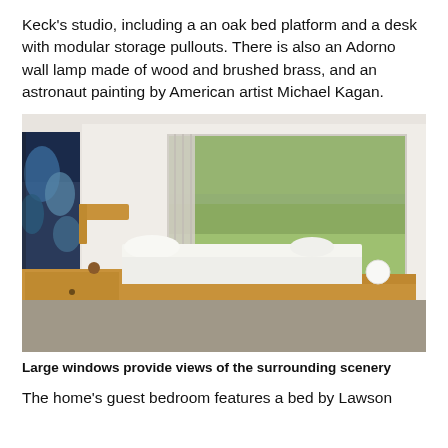Keck's studio, including a an oak bed platform and a desk with modular storage pullouts. There is also an Adorno wall lamp made of wood and brushed brass, and an astronaut painting by American artist Michael Kagan.
[Figure (photo): Interior photo of a minimalist bedroom with a low oak platform bed with white bedding, a large floor-to-ceiling window overlooking a green lawn and trees, a wooden dresser on the left, a colorful painting partially visible on the far left wall, and a white spherical lamp on the right side of the bed platform.]
Large windows provide views of the surrounding scenery
The home's guest bedroom features a bed by Lawson